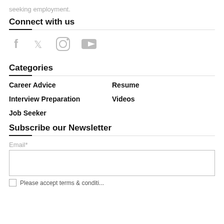seeking employment.
Connect with us
[Figure (illustration): Social media icons: Facebook, Twitter, Instagram, YouTube]
Categories
Career Advice
Resume
Interview Preparation
Videos
Job Seeker
Subscribe our Newsletter
Email*
Please accept terms & conditions